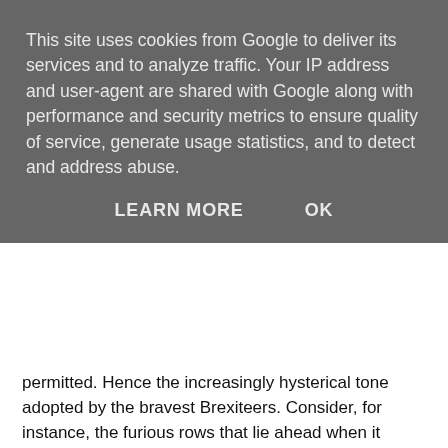This site uses cookies from Google to deliver its services and to analyze traffic. Your IP address and user-agent are shared with Google along with performance and security metrics to ensure quality of service, generate usage statistics, and to detect and address abuse.
LEARN MORE   OK
permitted. Hence the increasingly hysterical tone adopted by the bravest Brexiteers. Consider, for instance, the furious rows that lie ahead when it comes to the question of the future of the British fishing fleet.
This week the European Council's draft Brexit proposals asked for “existing reciprocal access to fishing waters” to be maintained as part of any EU-UK Brexit deal. Just look at the state — and the cheek — of that. What British prime minister worth his or her salt could possibly agree to such a demand? Once again, you see, Britain’s fishermen face the galling prospect of being sold-out by their own government. It happened, according to mythic lore, when this country first joined the European project and it will happen again now that